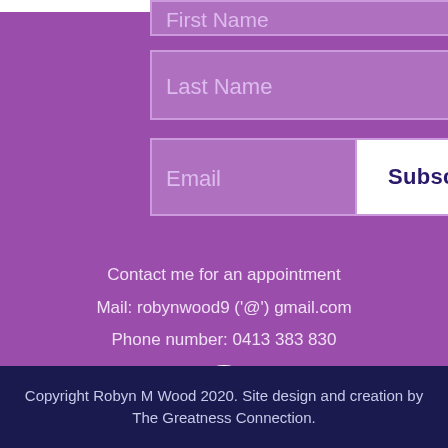First Name
Last Name
Email
Subscribe
Contact me for an appointment
Mail: robynwood9 ('@') gmail.com
Phone number: 0413 383 830
[Figure (logo): Facebook icon - white circle with white f logo on purple background]
Copyright Robyn M Wood 2020. Site design and creation by The Greatness Connection.